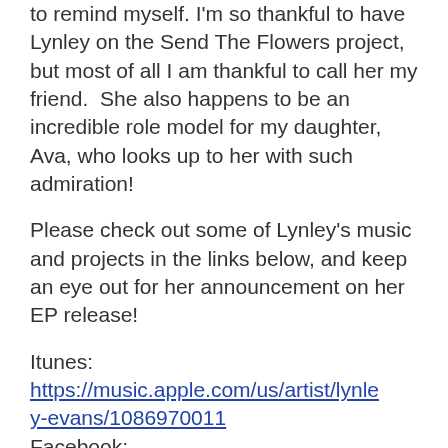to remind myself. I'm so thankful to have Lynley on the Send The Flowers project, but most of all I am thankful to call her my friend.  She also happens to be an incredible role model for my daughter, Ava, who looks up to her with such admiration!
Please check out some of Lynley's music and projects in the links below, and keep an eye out for her announcement on her EP release!
Itunes:
https://music.apple.com/us/artist/lynley-evans/1086970011
Facebook:
https://www.facebook.com/LynleyEvans